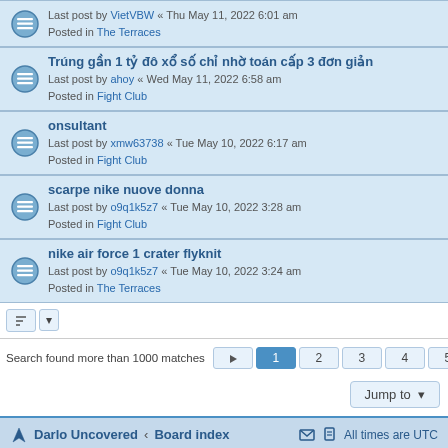Last post by VietVBW « Thu May 11, 2022 6:01 am
Posted in The Terraces
Trúng gần 1 tỷ đô xổ số chỉ nhờ toán cấp 3 đơn giản
Last post by ahoy « Wed May 11, 2022 6:58 am
Posted in Fight Club
onsultant
Last post by xmw63738 « Tue May 10, 2022 6:17 am
Posted in Fight Club
scarpe nike nuove donna
Last post by o9q1k5z7 « Tue May 10, 2022 3:28 am
Posted in Fight Club
nike air force 1 crater flyknit
Last post by o9q1k5z7 « Tue May 10, 2022 3:24 am
Posted in The Terraces
Search found more than 1000 matches
Jump to
Darlo Uncovered · Board index · All times are UTC
Powered by phpBB® Forum Software © phpBB Limited
Privacy | Terms